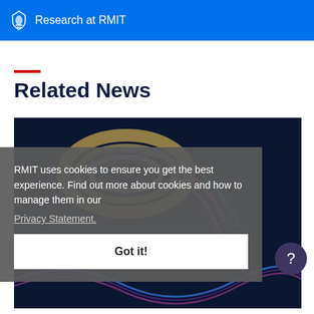Research at RMIT
Related News
[Figure (photo): Abstract swirling colorful light streaks on dark background, partial view of a news article card]
RMIT uses cookies to ensure you get the best experience. Find out more about cookies and how to manage them in our Privacy Statement.
Got it!